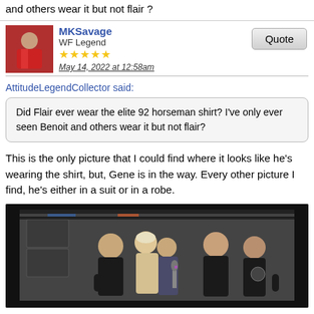and others wear it but not flair?
MKSavage
WF Legend
★★★★★
May 14, 2022 at 12:58am
AttitudeLegendCollector said:
Did Flair ever wear the elite 92 horseman shirt? I've only ever seen Benoit and others wear it but not flair?
This is the only picture that I could find where it looks like he's wearing the shirt, but, Gene is in the way. Every other picture I find, he's either in a suit or in a robe.
[Figure (photo): Black and white/color TV screenshot of several wrestlers in dark shirts grouped together in what appears to be a locker room area, with one person holding a microphone.]